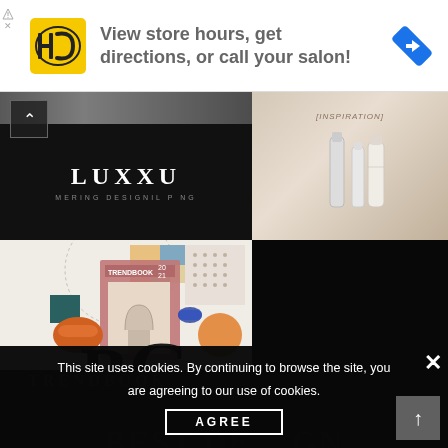[Figure (screenshot): Advertisement banner: HC logo (black H and C on yellow background), text 'View store hours, get directions, or call your salon!', blue navigation arrow icon on right]
[Figure (screenshot): Website screenshot showing LUXXU brand logo on dark background (top left), cosmetics/beauty product image on top right, interior design trend book collage image on bottom left, black background on bottom right, cookie consent overlay at bottom reading 'This site uses cookies. By continuing to browse the site, you are agreeing to our use of cookies.' with AGREE button, close X button, and scroll-up arrow button. TRENDBOOK text visible. BEST DESIGN text partially visible at very bottom.]